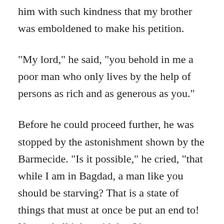him with such kindness that my brother was emboldened to make his petition.
"My lord," he said, "you behold in me a poor man who only lives by the help of persons as rich and as generous as you."
Before he could proceed further, he was stopped by the astonishment shown by the Barmecide. "Is it possible," he cried, "that while I am in Bagdad, a man like you should be starving? That is a state of things that must at once be put an end to! Never shall it be said that I have abandoned you, and I am sure that you, on your part, will never abandon me."